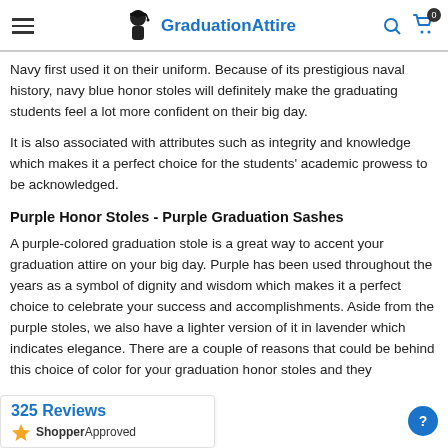GraduationAttire
Navy first used it on their uniform. Because of its prestigious naval history, navy blue honor stoles will definitely make the graduating students feel a lot more confident on their big day.
It is also associated with attributes such as integrity and knowledge which makes it a perfect choice for the students' academic prowess to be acknowledged.
Purple Honor Stoles - Purple Graduation Sashes
A purple-colored graduation stole is a great way to accent your graduation attire on your big day. Purple has been used throughout the years as a symbol of dignity and wisdom which makes it a perfect choice to celebrate your success and accomplishments. Aside from the purple stoles, we also have a lighter version of it in lavender which indicates elegance. There are a couple of reasons that could be behind this choice of color for your graduation honor stoles and they
[Figure (other): Shopper Approved widget showing 325 Reviews with star rating logo]
[Figure (other): Help/chat button circle icon in blue]